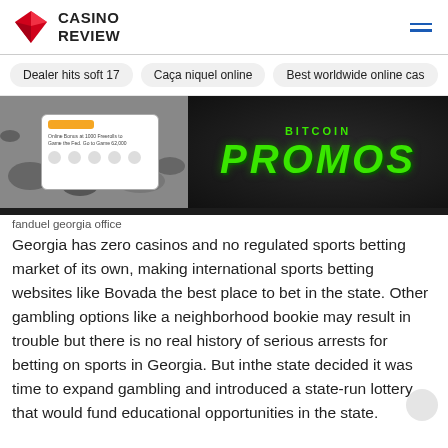CASINO REVIEW
Dealer hits soft 17
Caça niquel online
Best worldwide online cas
[Figure (photo): Banner image showing a mobile device on a rocky surface with green neon text reading PROMOS on the right side. Text at top reads BITCOIN or similar. Orange button visible on device screen.]
fanduel georgia office
Georgia has zero casinos and no regulated sports betting market of its own, making international sports betting websites like Bovada the best place to bet in the state. Other gambling options like a neighborhood bookie may result in trouble but there is no real history of serious arrests for betting on sports in Georgia. But inthe state decided it was time to expand gambling and introduced a state-run lottery that would fund educational opportunities in the state.